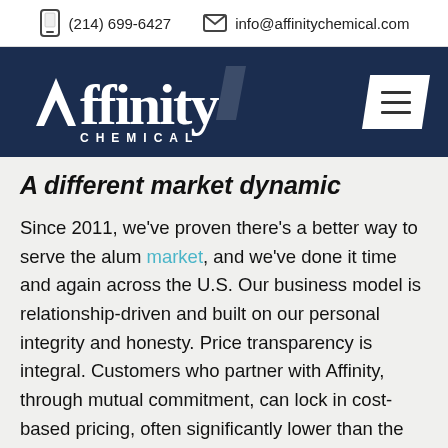(214) 699-6427  info@affinitychemical.com
[Figure (logo): Affinity Chemical logo on dark navy background with menu hamburger icon]
A different market dynamic
Since 2011, we've proven there's a better way to serve the alum market, and we've done it time and again across the U.S. Our business model is relationship-driven and built on our personal integrity and honesty. Price transparency is integral. Customers who partner with Affinity, through mutual commitment, can lock in cost-based pricing, often significantly lower than the local market.